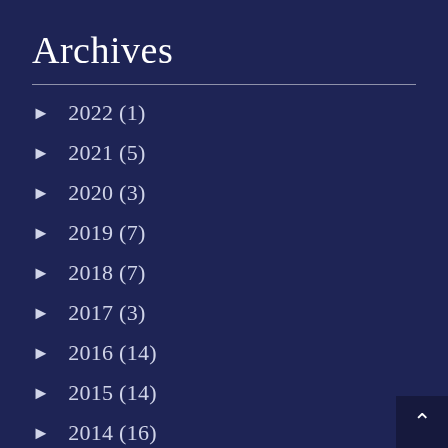Archives
► 2022 (1)
► 2021 (5)
► 2020 (3)
► 2019 (7)
► 2018 (7)
► 2017 (3)
► 2016 (14)
► 2015 (14)
► 2014 (16)